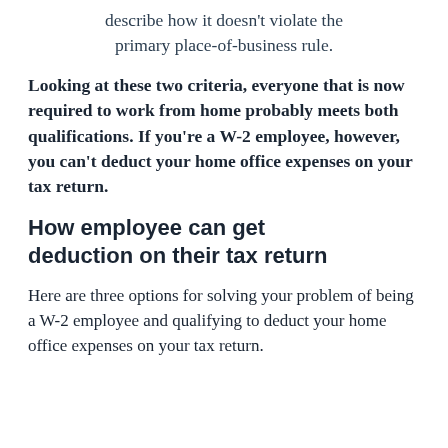describe how it doesn't violate the primary place-of-business rule.
Looking at these two criteria, everyone that is now required to work from home probably meets both qualifications. If you're a W-2 employee, however, you can't deduct your home office expenses on your tax return.
How employee can get deduction on their tax return
Here are three options for solving your problem of being a W-2 employee and qualifying to deduct your home office expenses on your tax return.